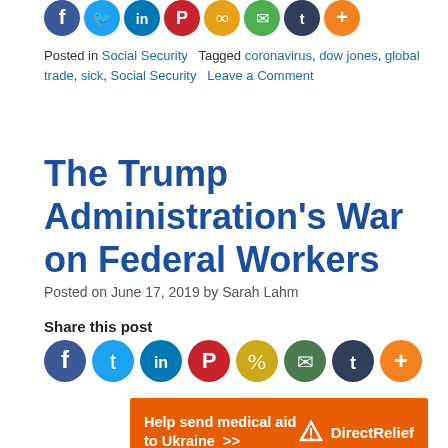[Figure (other): Row of social media share icon circles (Facebook, Twitter, LinkedIn, Pinterest, Copy, Email, Tumblr, More) at top of page]
Posted in Social Security   Tagged coronavirus, dow jones, global trade, sick, Social Security   Leave a Comment
The Trump Administration’s War on Federal Workers
Posted on June 17, 2019 by Sarah Lahm
Share this post
[Figure (other): Row of social media share icon circles (Facebook, Twitter, LinkedIn, Pinterest, Copy, Email, Tumblr, More)]
[Figure (other): Orange advertisement banner: Help send medical aid to Ukraine >> | Direct Relief logo]